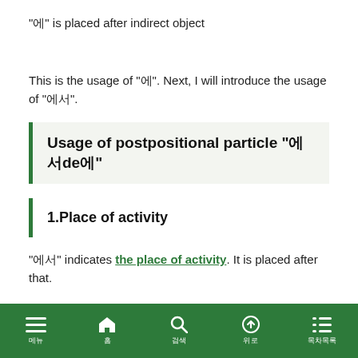"에" is placed after indirect object
This is the usage of "에". Next, I will introduce the usage of "에서".
Usage of postpositional particle "에서de에"
1.Place of activity
"에서" indicates the place of activity. It is placed after that.
메뉴 홈 검색 위로 목차목록